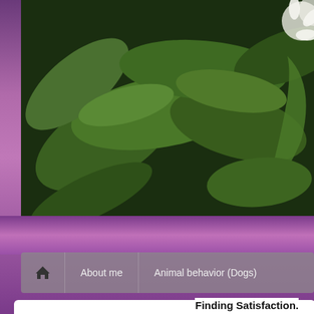[Figure (screenshot): Website screenshot showing a blog page with a plant/leaf hero image at the top, a navigation bar with Home, About me, Animal behavior (Dogs) links, white content area with 'Category 52 Pick up' title, a calendar icon showing SEP 18, and post title '52 Pick Up: Peace'. A cookie consent overlay is visible at the bottom.]
Privacy & Cookies: This site uses cookies. By continuing to use this website, you agree to their use.
To find out more, including how to control cookies, see here: Cookie Policy
Close and accept
Finding Satisfaction.